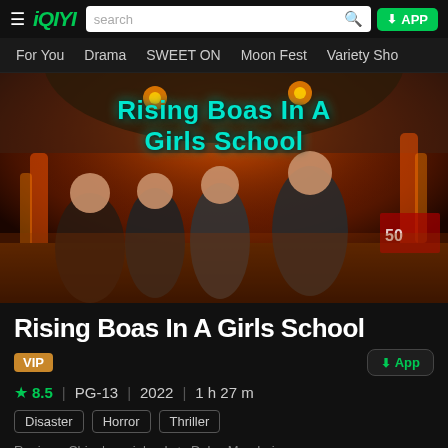≡ iQIYI  search  🔍  ⬇ APP
For You  Drama  SWEET ON  Moon Fest  Variety Sho
[Figure (photo): Movie poster for 'Rising Boas In A Girls School' showing four characters (three women, one man) in front of a giant snake, with dramatic fire background. Title text in stylized teal font overlaid on image.]
Rising Boas In A Girls School
VIP
⬇ App
★ 8.5  |  PG-13  |  2022  |  1 h 27 m
Disaster  Horror  Thriller
Region：China's mainland  |  Dub：Mandarin